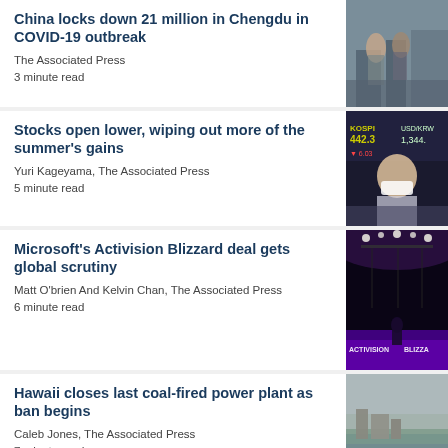China locks down 21 million in Chengdu in COVID-19 outbreak
The Associated Press
3 minute read
[Figure (photo): People walking on a street in China, one person carrying shopping bags]
Stocks open lower, wiping out more of the summer's gains
Yuri Kageyama, The Associated Press
5 minute read
[Figure (photo): Stock market display showing KOSPI 442.3 and USD/KRW 1,344, person wearing face mask]
Microsoft's Activision Blizzard deal gets global scrutiny
Matt O'brien And Kelvin Chan, The Associated Press
6 minute read
[Figure (photo): Activision Blizzard stage with purple lighting and logo]
Hawaii closes last coal-fired power plant as ban begins
Caleb Jones, The Associated Press
7 minute read
[Figure (photo): Aerial view of a power plant near water]
[Figure (photo): Partial image at bottom of page, red tones visible]